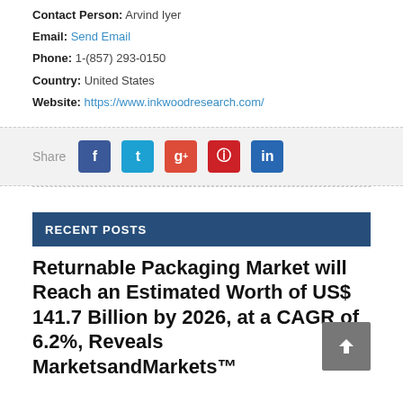Contact Person: Arvind Iyer
Email: Send Email
Phone: 1-(857) 293-0150
Country: United States
Website: https://www.inkwoodresearch.com/
[Figure (infographic): Share bar with social media buttons: Facebook (blue), Twitter (cyan), Google+ (orange-red), Pinterest (red), LinkedIn (dark blue)]
RECENT POSTS
Returnable Packaging Market will Reach an Estimated Worth of US$ 141.7 Billion by 2026, at a CAGR of 6.2%, Reveals MarketsandMarkets™